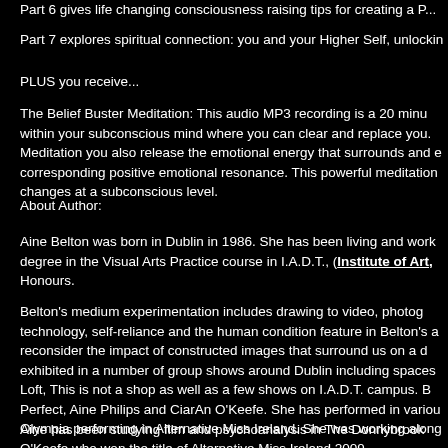Part 6 gives life changing consciousness raising tips for creating a P...
Part 7 explores spiritual connection: you and your Higher Self, unlockin...
PLUS you receive...
The Belief Buster Meditation: This audio MP3 recording is a 20 minu... within your subconscious mind where you can clear and replace you... Meditation you also release the emotional energy that surrounds and e... corresponding positive emotional resonance. This powerful meditation... changes at a subconscious level.
About Author:
Aine Belton was born in Dublin in 1986. She has been living and work... degree in the Visual Arts Practice course in I.A.D.T., (Institute of Art,... Honours.
Belton's medium experimentation includes drawing to video, photog... technology, self-reliance and the human condition feature in Belton's a... reconsider the impact of constructed images that surround us on a d... exhibited in a number of group shows around Dublin including spaces... Loft, This is not a shop as well as a few shows on I.A.D.T. campus. B... Perfect, Aine Philips and CiarAn O'Keefe. She has performed in variou... Olympia performing in Alternative Miss Ireland. She was working along... O'Keefe who won the title of Alternative Miss Ireland 2009.
Aine has been studying film and psychoanalysis in The Donnybrook... short films and other work. Her experimental films are also available... Film, Video and Photography in UCA Canterbury for the rest 2011/12.